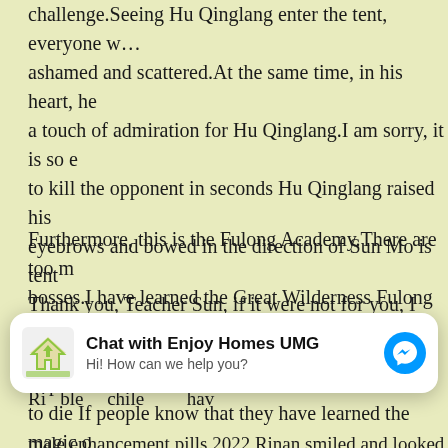challenge.Seeing Hu Qinglang enter the tent, everyone was ashamed and scattered.At the same time, in his heart, he felt a touch of admiration for Hu Qinglang.I am sorry, it is so easy to kill the opponent in seconds Hu Qinglang raised his eyebrows and bowed in the direction of Sun Mo is tent Thank you, Teacher Sun, if it were not for you, I would have been embarrassed this time.
Furthermore, this is the Fulong Academy.There are too many bosses.I have learned the Great Wilderness Fulong Sutra, if there is a little sign inadvertently, would not it be impossible to die If people know that they have learned the magic of the town school, they will never want to leave the Fulong School in this life.
Ri ble... chile hav...
male enhancement pills 2022 Rinan smiled and looked a...
[Figure (other): Chat widget overlay for 'Enjoy Homes UMG' with logo, title, subtitle 'Hi! How can we help you?' and a messenger icon button.]